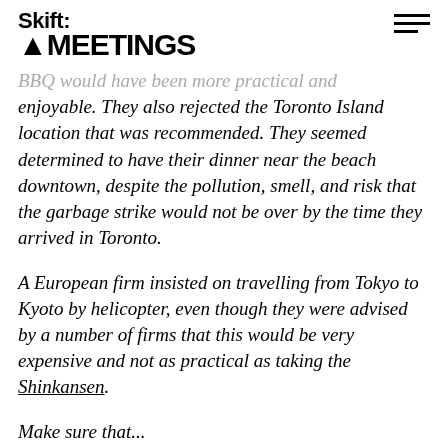Skift MEETINGS
BBQ would have been more practical and enjoyable. They also rejected the Toronto Island location that was recommended. They seemed determined to have their dinner near the beach downtown, despite the pollution, smell, and risk that the garbage strike would not be over by the time they arrived in Toronto.
A European firm insisted on travelling from Tokyo to Kyoto by helicopter, even though they were advised by a number of firms that this would be very expensive and not as practical as taking the Shinkansen.
Make sure that...